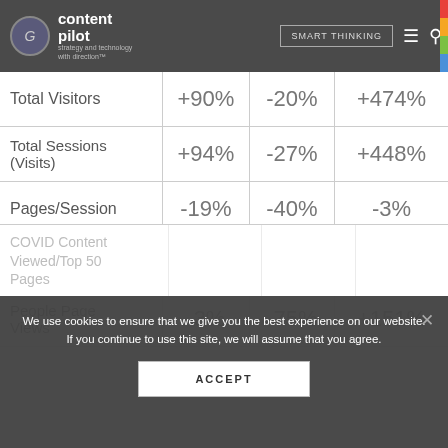content pilot strategy and technology with direction™ | SMART THINKING
|  |  |  |  |
| --- | --- | --- | --- |
| Total Visitors | +90% | -20% | +474% |
| Total Sessions (Visits) | +94% | -27% | +448% |
| Pages/Session | -19% | -40% | -3% |
| Session Duration | 0% | -37% | +28% |
| People Page Views | -3% | -75% | +151% |
We use cookies to ensure that we give you the best experience on our website. If you continue to use this site, we will assume that you agree.
ACCEPT